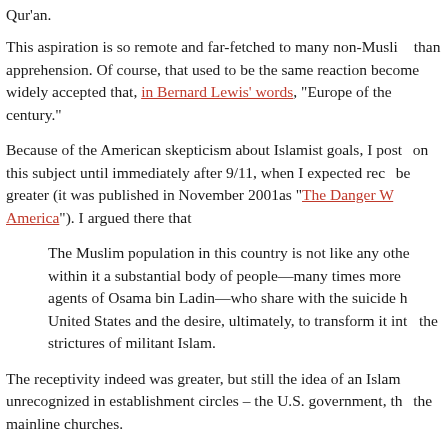Qur'an.
This aspiration is so remote and far-fetched to many non-Muslims than apprehension. Of course, that used to be the same reaction become widely accepted that, in Bernard Lewis' words, "Europe of the century."
Because of the American skepticism about Islamist goals, I posted on this subject until immediately after 9/11, when I expected receptivity to be greater (it was published in November 2001as "The Danger W... America"). I argued there that
The Muslim population in this country is not like any other within it a substantial body of people—many times more agents of Osama bin Ladin—who share with the suicide bombers United States and the desire, ultimately, to transform it into the strictures of militant Islam.
The receptivity indeed was greater, but still the idea of an Islamic unrecognized in establishment circles – the U.S. government, the mainline churches.
Therefore, reading "A rare look at secretive Brotherhood in America" Tribune on Sept. 19 caused me to startle. It's a long analysis that interview with Ahmed Elkadi, the Muslim Brotherhood leader in 1984-94, plus their interviews and documentation. I sit there